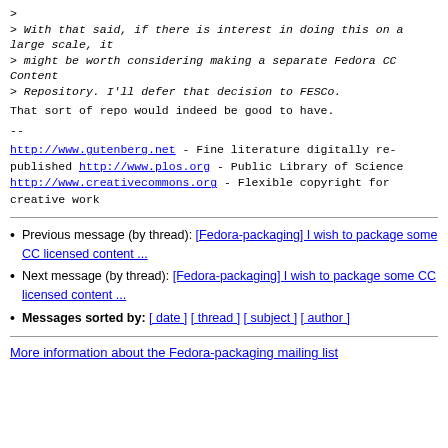> 
> With that said, if there is interest in doing this on a large scale, it
> might be worth considering making a separate Fedora CC Content
> Repository. I'll defer that decision to FESCo.
That sort of repo would indeed be good to have.
--
http://www.gutenberg.net - Fine literature digitally re-published
http://www.plos.org - Public Library of Science
http://www.creativecommons.org - Flexible copyright for creative work
Previous message (by thread): [Fedora-packaging] I wish to package some CC licensed content ...
Next message (by thread): [Fedora-packaging] I wish to package some CC licensed content ...
Messages sorted by: [ date ] [ thread ] [ subject ] [ author ]
More information about the Fedora-packaging mailing list